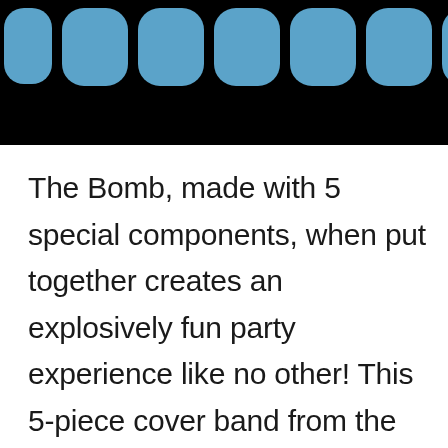[Figure (illustration): Black header banner with 7 blue rounded rectangle dots/pills arranged horizontally at the top]
The Bomb, made with 5 special components, when put together creates an explosively fun party experience like no other! This 5-piece cover band from the Fox Valley has been getting the party started and the good times rolling since 2012! They